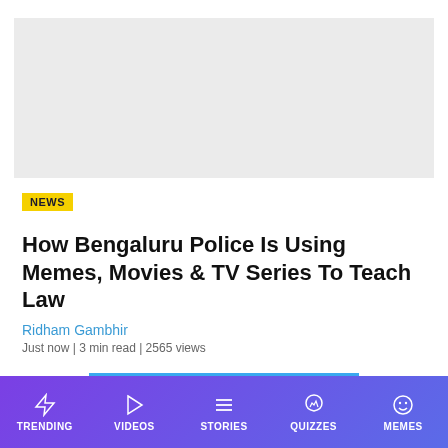[Figure (other): Gray rectangular image placeholder at top of page]
NEWS
How Bengaluru Police Is Using Memes, Movies & TV Series To Teach Law
Ridham Gambhir
Just now | 3 min read | 2565 views
LOAD MORE
TRENDING  VIDEOS  STORIES  QUIZZES  MEMES